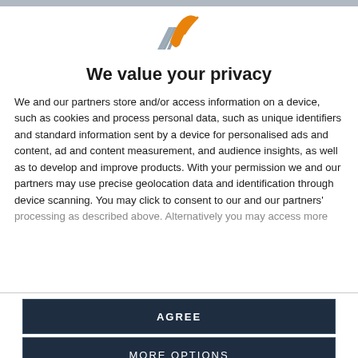[Figure (logo): A stylized logo with an orange and grey abstract checkmark/wave mark]
We value your privacy
We and our partners store and/or access information on a device, such as cookies and process personal data, such as unique identifiers and standard information sent by a device for personalised ads and content, ad and content measurement, and audience insights, as well as to develop and improve products. With your permission we and our partners may use precise geolocation data and identification through device scanning. You may click to consent to our and our partners' processing as described above. Alternatively you may access more
AGREE
MORE OPTIONS
his first also came on clay at the Kitzbuhel Open in 2014